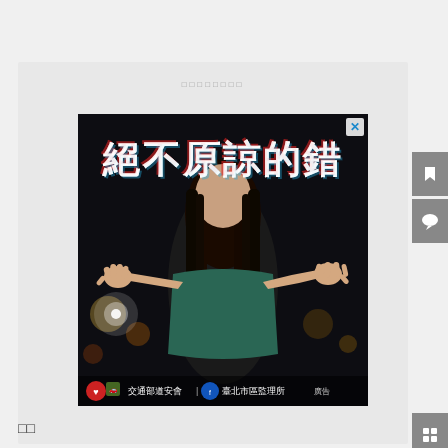□□□□□□□□
[Figure (photo): Taiwanese road safety public service advertisement showing a person from behind with arms outstretched, with text '絕不原諒的錯' (The unforgivable mistake) in white/red glitch-style text. Bottom logos for 交通部道安會 (Traffic Safety Committee) and 臺北市區監理所 (Taipei City Motor Vehicles Office).]
□□